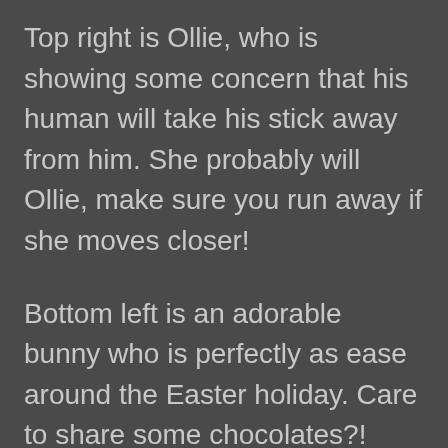Top right is Ollie, who is showing some concern that his human will take his stick away from him. She probably will Ollie, make sure you run away if she moves closer!
Bottom left is an adorable bunny who is perfectly as ease around the Easter holiday. Care to share some chocolates?!
Bottom right leaves me feeling a bit of mischief may be afoot. It could be a hug